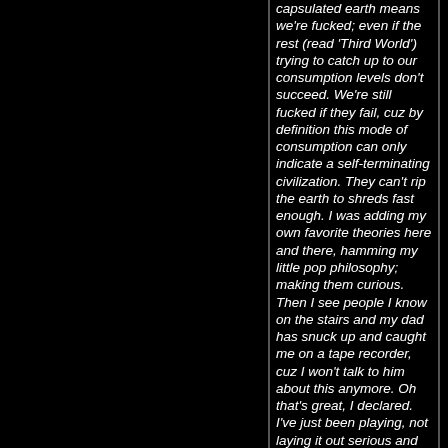capsulated earth means we're fucked; even if the rest (read 'Third World') trying to catch up to our consumption levels don't succeed. We're still fucked if they fail, cuz by definition this mode of consumption can only indicate a self-terminating civilization. They can't rip the earth to shreds fast enough. I was adding my own favorite theories here and there, hamming my little pop philosophy; making them curious. Then I see people I know on the stairs and my dad has snuck up and caught me on a tape recorder, cuz I won't talk to him about this anymore. Oh that's great, I declared. I've just been playing, not laying it out serious and now he'll review the tape, dissect it to bits and take it as conclusive evidence I'm crazy and tell everyone I'm going to hell. Perfect! I